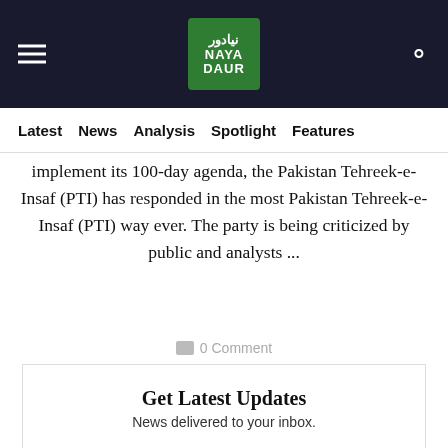Naya Daur — navigation header with logo, hamburger menu, and search icon
Latest | News | Analysis | Spotlight | Features
implement its 100-day agenda, the Pakistan Tehreek-e-Insaf (PTI) has responded in the most Pakistan Tehreek-e-Insaf (PTI) way ever. The party is being criticized by public and analysts ...
0 Comment
Get Latest Updates
News delivered to your inbox.